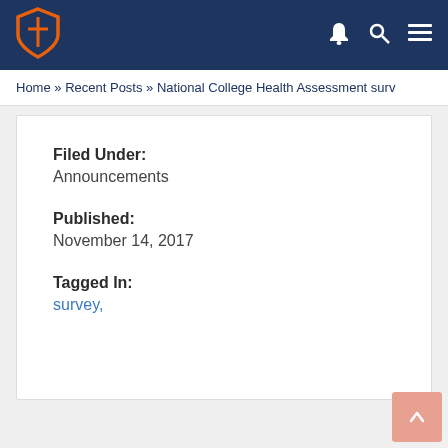Navigation bar with shield logo and icons
Home » Recent Posts » National College Health Assessment surv
Filed Under:
Announcements
Published:
November 14, 2017
Tagged In:
survey,